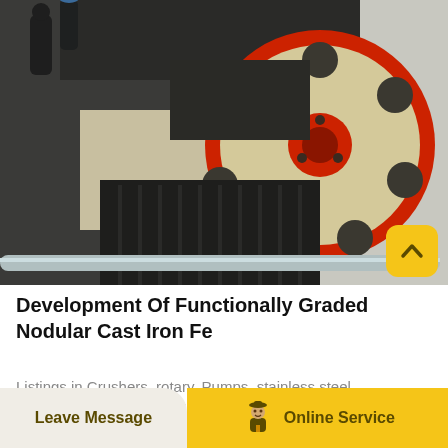[Figure (photo): Industrial heavy machinery photo showing a large flywheel with red rim and cream-colored spoked wheel on a jaw crusher or similar equipment. Workers visible in background. Metal pipes visible in foreground.]
Development Of Functionally Graded Nodular Cast Iron Fe
Listings in Crushers, rotary, Pumps, stainless steel, Water treatment chemicals, Pipe, carbon steel,
Leave Message | Online Service